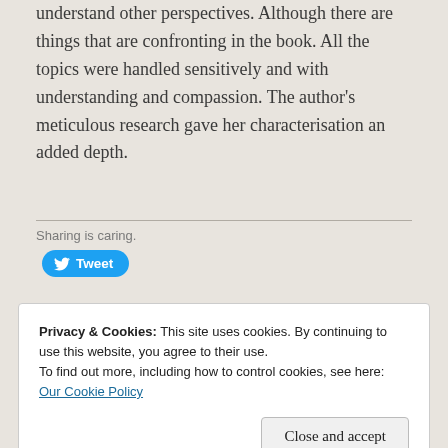understand other perspectives. Although there are things that are confronting in the book. All the topics were handled sensitively and with understanding and compassion. The author's meticulous research gave her characterisation an added depth.
Sharing is caring.
[Figure (other): Tweet button with Twitter bird icon]
Privacy & Cookies: This site uses cookies. By continuing to use this website, you agree to their use.
To find out more, including how to control cookies, see here: Our Cookie Policy
Close and accept